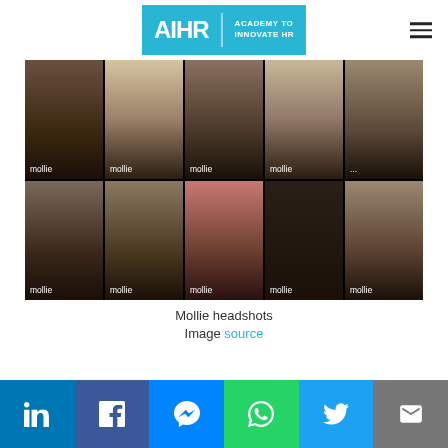AIHR | ACADEMY TO INNOVATE HR
[Figure (photo): Group headshots of Mollie employees wearing black Mollie-branded t-shirts arranged in a 5x2 grid on a black background]
Mollie headshots
Image source